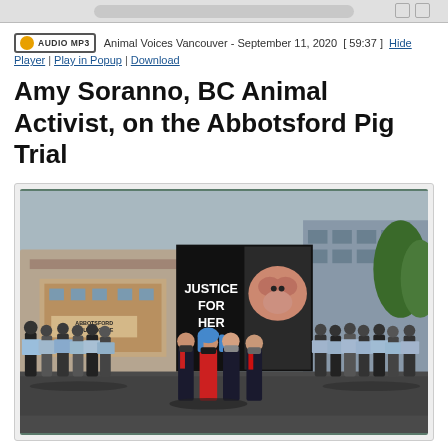[browser navigation bar / top UI bar]
AUDIO MP3   Animal Voices Vancouver - September 11, 2020  [ 59:37 ]  Hide Player | Play in Popup | Download
Amy Soranno, BC Animal Activist, on the Abbotsford Pig Trial
[Figure (photo): Group of people gathered outside Abbotsford Courthouse holding signs/photos. A large banner reads 'JUSTICE FOR HER' with an image of a pig. Three people stand in front: a woman with blue hair in a red jacket flanked by two men in suits wearing masks. Supporters hold photographs in the background.]